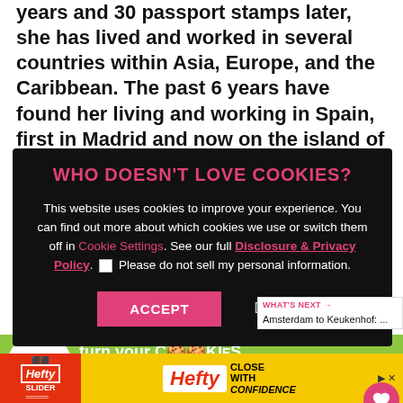years and 30 passport stamps later, she has lived and worked in several countries within Asia, Europe, and the Caribbean. The past 6 years have found her living and working in Spain, first in Madrid and now on the island of
WHO DOESN'T LOVE COOKIES?
This website uses cookies to improve your experience. You can find out more about which cookies we use or switch them off in Cookie Settings. See our full Disclosure & Privacy Policy. ☐ Please do not sell my personal information.
ACCEPT   Decline
[Figure (screenshot): Cookies for Kids Cancer advertisement — green background with cookies imagery, 'turn your Cookies into a CURE' text and 'LEARN HOW' button]
[Figure (screenshot): Hefty Slider Bags advertisement — yellow background with Hefty logo and 'CLOSE WITH CONFIDENCE' tagline]